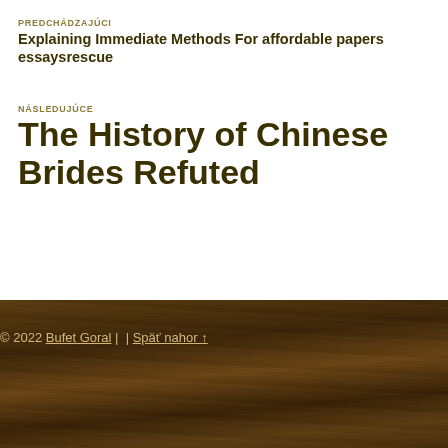PREDCHÁDZAJÚCI
Explaining Immediate Methods For affordable papers essaysrescue
NÁSLEDUJÚCE
The History of Chinese Brides Refuted
© 2022 Bufet Goral |  | Späť nahor ↑